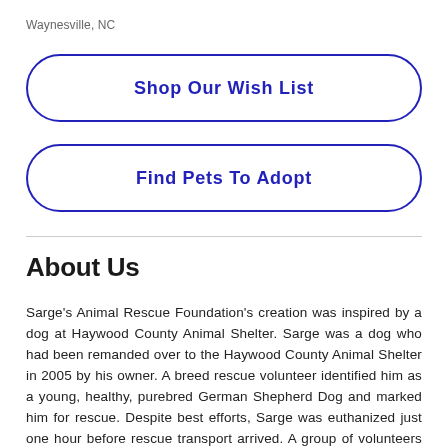Waynesville, NC
Shop Our Wish List
Find Pets To Adopt
About Us
Sarge's Animal Rescue Foundation's creation was inspired by a dog at Haywood County Animal Shelter. Sarge was a dog who had been remanded over to the Haywood County Animal Shelter in 2005 by his owner. A breed rescue volunteer identified him as a young, healthy, purebred German Shepherd Dog and marked him for rescue. Despite best efforts, Sarge was euthanized just one hour before rescue transport arrived. A group of volunteers used this event as a catalyst for change, and formed an organization with the mission of preventing the euthanasia of adoptable